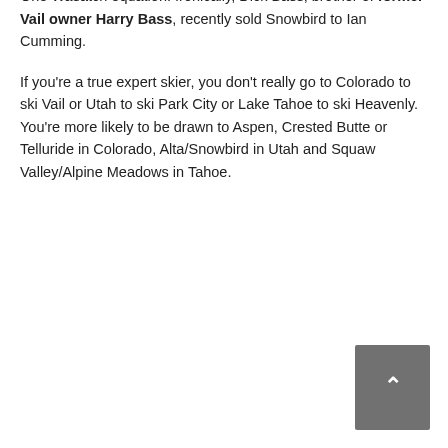That includes arguably the best skiing in the state at Alta/Snowbird, where expert skiers who like to hike will continue to congregate rather than the intermediate pitches of Park City, which fit so nicely into Vail's quiver of big but relatively benign resorts like Vail, Breck, Keystone and Heavenly.
And Snowbird is now owned by the Cumming family, which also owns Powdr, so that's another complicating factor in the One Wasatch equation. Ironically, Dick Bass, brother of former Vail owner Harry Bass, recently sold Snowbird to Ian Cumming.
If you're a true expert skier, you don't really go to Colorado to ski Vail or Utah to ski Park City or Lake Tahoe to ski Heavenly. You're more likely to be drawn to Aspen, Crested Butte or Telluride in Colorado, Alta/Snowbird in Utah and Squaw Valley/Alpine Meadows in Tahoe.